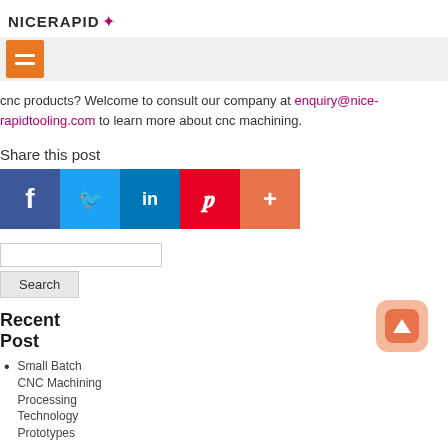NICERAPID
cnc products? Welcome to consult our company at enquiry@nice-rapidtooling.com to learn more about cnc machining.
Share this post
[Figure (infographic): Social share icons: Facebook, Twitter, LinkedIn, Pinterest, More (+)]
[Figure (infographic): Search box with Search button]
Recent
Post
Small Batch CNC Machining Processing Technology Prototypes